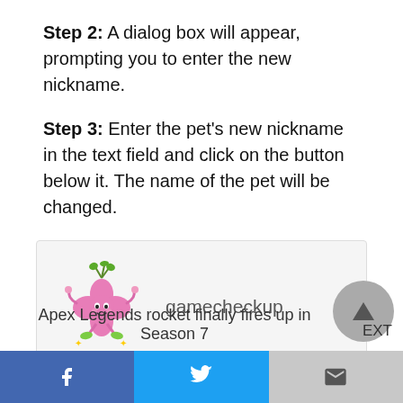Step 2: A dialog box will appear, prompting you to enter the new nickname.
Step 3: Enter the pet's new nickname in the text field and click on the button below it. The name of the pet will be changed.
[Figure (screenshot): A card box with a pink cartoon pet character (flower/clover shaped with face and limbs) on the left and the text 'gamecheckup' on the right, on a light gray background.]
Apex Legends rocket finally fires up in Season 7
Facebook share | Twitter share | Gmail share